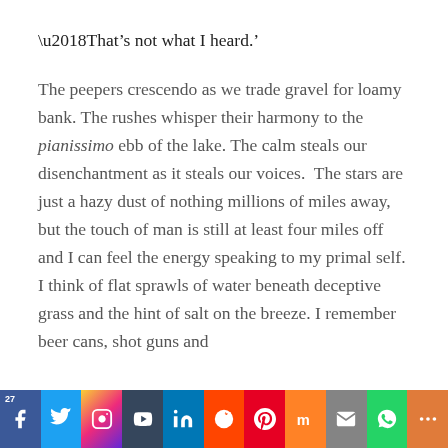‘That’s not what I heard.’
The peepers crescendo as we trade gravel for loamy bank. The rushes whisper their harmony to the pianissimo ebb of the lake. The calm steals our disenchantment as it steals our voices.  The stars are just a hazy dust of nothing millions of miles away, but the touch of man is still at least four miles off and I can feel the energy speaking to my primal self. I think of flat sprawls of water beneath deceptive grass and the hint of salt on the breeze. I remember beer cans, shot guns and